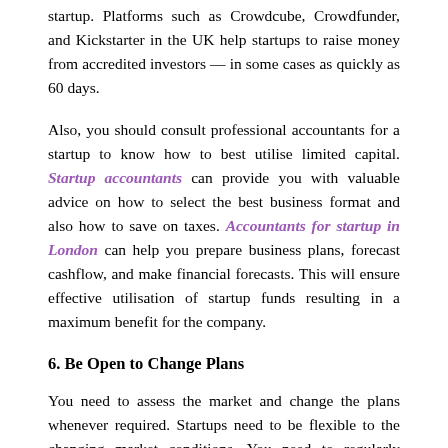startup. Platforms such as Crowdcube, Crowdfunder, and Kickstarter in the UK help startups to raise money from accredited investors — in some cases as quickly as 60 days.
Also, you should consult professional accountants for a startup to know how to best utilise limited capital. Startup accountants can provide you with valuable advice on how to select the best business format and also how to save on taxes. Accountants for startup in London can help you prepare business plans, forecast cashflow, and make financial forecasts. This will ensure effective utilisation of startup funds resulting in a maximum benefit for the company.
6. Be Open to Change Plans
You need to assess the market and change the plans whenever required. Startups need to be flexible to the changing market conditions. You need to regularly assess the market and make changes accordingly.